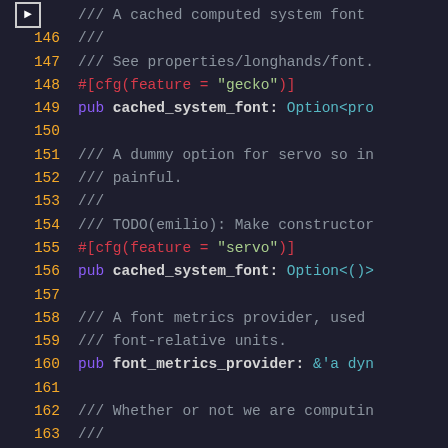[Figure (screenshot): Rust source code viewer showing lines 145-163 with syntax highlighting on a dark background. Line 145 has a breakpoint arrow indicator. Code includes doc comments, cfg attributes for gecko and servo features, and pub struct fields including cached_system_font and font_metrics_provider.]